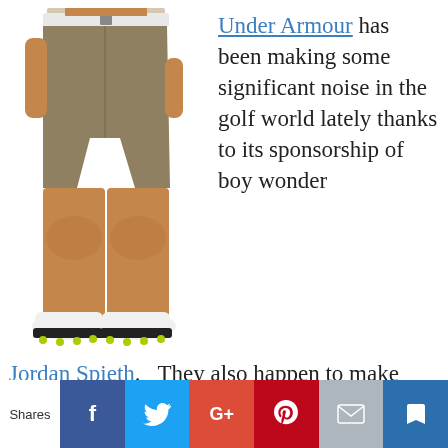[Figure (photo): Man wearing khaki/olive golf shorts with a white belt and white golf shoes with green-accented spikes, photo cropped from chest to feet.]
Under Armour has been making some significant noise in the golf world lately thanks to its sponsorship of boy wonder Jordan Spieth.  They also happen to make
[Figure (other): Social sharing bar with Facebook, Twitter, Google+, Pinterest, email, and bookmark buttons. A dark circular element is partially visible at right.]